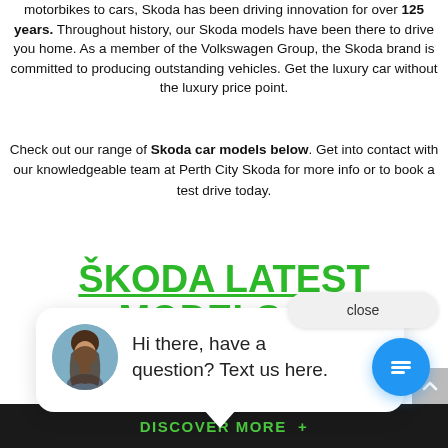motorbikes to cars, Skoda has been driving innovation for over 125 years. Throughout history, our Skoda models have been there to drive you home. As a member of the Volkswagen Group, the Skoda brand is committed to producing outstanding vehicles. Get the luxury car without the luxury price point.
Check out our range of Skoda car models below. Get into contact with our knowledgeable team at Perth City Skoda for more info or to book a test drive today.
ŠKODA LATEST MODELS IN PERTH
[Figure (screenshot): Chat widget popup with avatar photo of a woman and text: Hi there, have a question? Text us here. Close button visible. Blue chat button at bottom right.]
DISCOVER MORE +